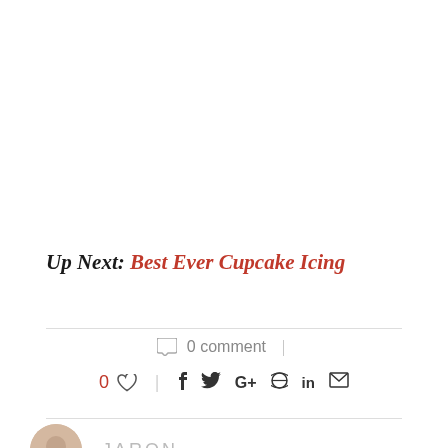Up Next: Best Ever Cupcake Icing
0 comment
0 ♡ | f t G+ ⊕ in ✉
JARON